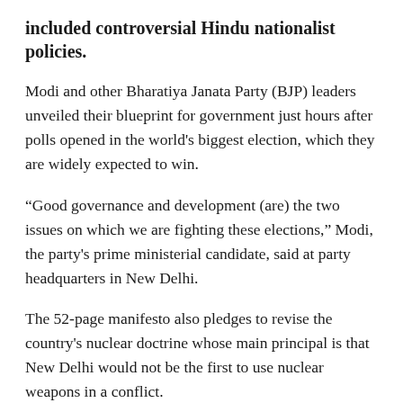included controversial Hindu nationalist policies.
Modi and other Bharatiya Janata Party (BJP) leaders unveiled their blueprint for government just hours after polls opened in the world's biggest election, which they are widely expected to win.
“Good governance and development (are) the two issues on which we are fighting these elections,” Modi, the party's prime ministerial candidate, said at party headquarters in New Delhi.
The 52-page manifesto also pledges to revise the country's nuclear doctrine whose main principal is that New Delhi would not be the first to use nuclear weapons in a conflict.